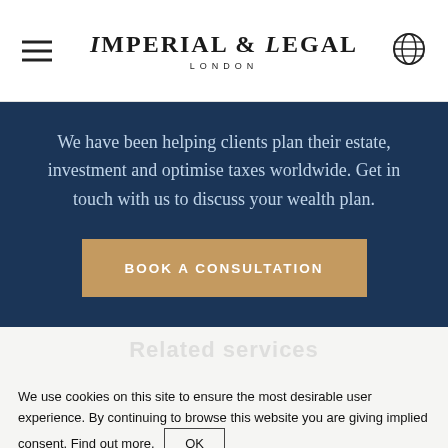Imperial & Legal London
We have been helping clients plan their estate, investment and optimise taxes worldwide. Get in touch with us to discuss your wealth plan.
BOOK A CONSULTATION
Related services
We use cookies on this site to ensure the most desirable user experience. By continuing to browse this website you are giving implied consent. Find out more.
OK